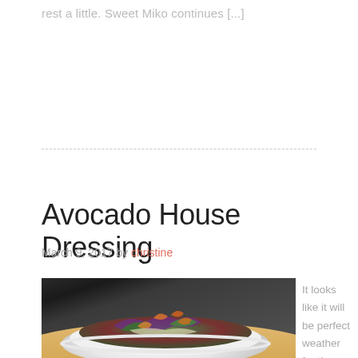rest a little. Sweet Miko continues [...]
Avocado House Dressing
March 9, 2017 by christine
[Figure (photo): A white bowl filled with a colorful salad containing shrimp, purple cabbage, green leaves, orange strips, and avocado pieces with dressing, on a wooden table.]
It looks like it will be perfect weather for the